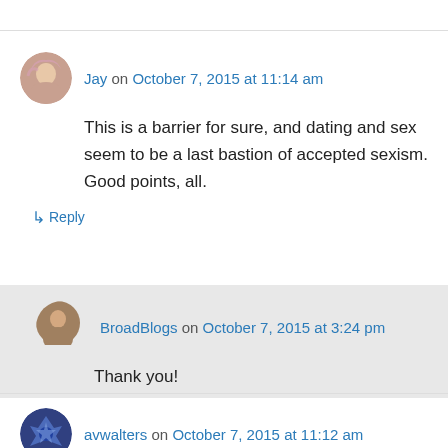Jay on October 7, 2015 at 11:14 am
This is a barrier for sure, and dating and sex seem to be a last bastion of accepted sexism. Good points, all.
↳ Reply
BroadBlogs on October 7, 2015 at 3:24 pm
Thank you!
↳ Reply
avwalters on October 7, 2015 at 11:12 am